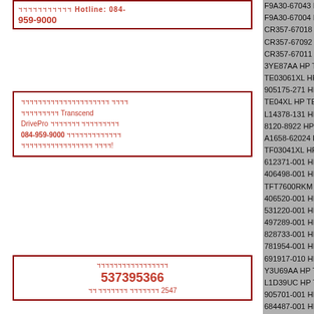ฯฯฯฯฯฯฯฯฯฯฯ Hotline: 084-959-9000
ฯฯฯฯฯฯฯฯฯฯฯฯฯฯฯฯฯฯฯฯฯ ฯฯฯฯ ฯฯฯฯฯฯฯฯฯ Transcend DrivePro ฯฯฯฯฯฯฯ ฯฯฯฯฯฯฯฯฯ 084-959-9000 ฯฯฯฯฯฯฯฯฯฯฯฯฯ ฯฯฯฯฯฯฯฯฯฯฯฯฯฯฯฯฯ ฯฯฯฯ!
ฯฯฯฯฯฯฯฯฯฯฯฯฯฯฯฯฯ 537395366 ฯฯ ฯฯฯฯฯฯฯ ฯฯฯฯฯฯฯ 2547
F9A30-67043 HP T83
F9A30-67004 HP T83
CR357-67018 HP T92
CR357-67092 HP T92
CR357-67011 HP T92
3YE87AA HP TB DOC
TE03061XL HP TE030
905175-271 HP TE040
TE04XL HP TE04063X
L14378-131 HP Teclad
8120-8922 HP Teleph
A1658-62024 HP Term
TF03041XL HP TF030
612371-001 HP TFT76
406498-001 HP TFT76
TFT7600RKM HP TFT
406520-001 HP TFT76
531220-001 HP Therm
497289-001 HP Therm
828733-001 HP Therm
781954-001 HP THER
691917-010 HP Thin 3
Y3U69AA HP THIN CL
L1D39UC HP THIN CL
905701-001 HP Thin C
684487-001 HP Thin C
734269-001 HP Thin C
L15938-001 HP Thund
843011-001 HP Thund
855117-001 HP Thund
2UK37AA HP THUNDI
2UK37UT HP Thunder